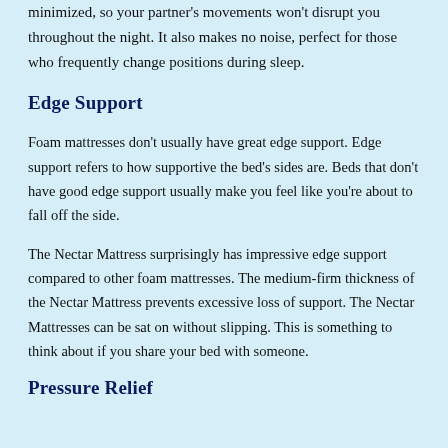minimized, so your partner's movements won't disrupt you throughout the night. It also makes no noise, perfect for those who frequently change positions during sleep.
Edge Support
Foam mattresses don't usually have great edge support. Edge support refers to how supportive the bed's sides are. Beds that don't have good edge support usually make you feel like you're about to fall off the side.
The Nectar Mattress surprisingly has impressive edge support compared to other foam mattresses. The medium-firm thickness of the Nectar Mattress prevents excessive loss of support. The Nectar Mattresses can be sat on without slipping. This is something to think about if you share your bed with someone.
Pressure Relief